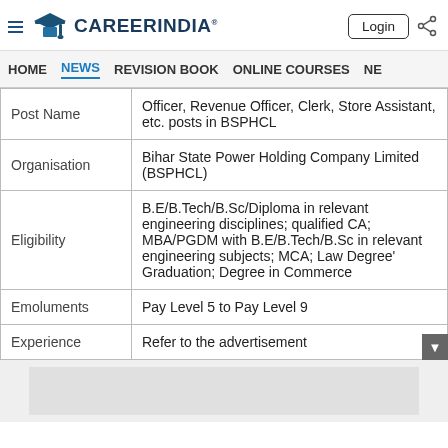CareerIndia — Login
HOME  NEWS  REVISION BOOK  ONLINE COURSES  NE
| Field | Details |
| --- | --- |
| Post Name | Officer, Revenue Officer, Clerk, Store Assistant, etc. posts in BSPHCL |
| Organisation | Bihar State Power Holding Company Limited (BSPHCL) |
| Eligibility | B.E/B.Tech/B.Sc/Diploma in relevant engineering disciplines; qualified CA; MBA/PGDM with B.E/B.Tech/B.Sc in relevant engineering subjects; MCA; Law Degree' Graduation; Degree in Commerce |
| Emoluments | Pay Level 5 to Pay Level 9 |
| Experience | Refer to the advertisement |